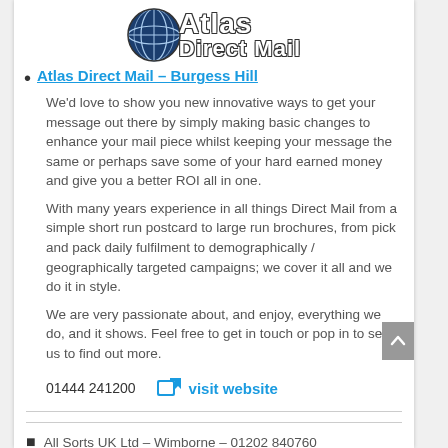[Figure (logo): Atlas Direct Mail logo with globe icon and text 'Atlas Direct Mail' in white with dark outline on Impact font]
Atlas Direct Mail – Burgess Hill
We'd love to show you new innovative ways to get your message out there by simply making basic changes to enhance your mail piece whilst keeping your message the same or perhaps save some of your hard earned money and give you a better ROI all in one.

With many years experience in all things Direct Mail from a simple short run postcard to large run brochures, from pick and pack daily fulfilment to demographically / geographically targeted campaigns; we cover it all and we do it in style.

We are very passionate about, and enjoy, everything we do, and it shows. Feel free to get in touch or pop in to see us to find out more.

01444 241200   visit website
All Sorts UK Ltd – Wimborne – 01202 840760